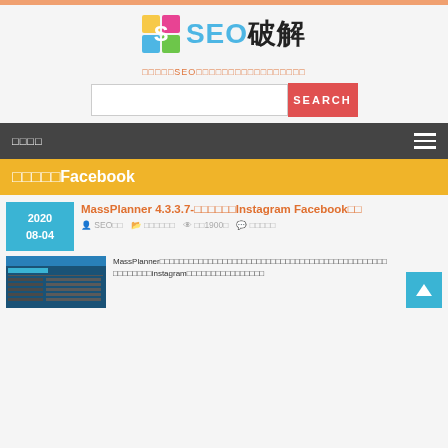[Figure (logo): SEO破解 website logo with colorful puzzle piece icon and blue/dark text]
□□□□□SEO□□□□□□□□□□□□□□□□□
[Figure (screenshot): Search bar with text input field and red SEARCH button]
□□□□
□□□□□Facebook
MassPlanner 4.3.3.7-□□□□□□Instagram Facebook□□
SEO□□   □□□□□□   □□19000   □□□□□
[Figure (screenshot): Screenshot of MassPlanner software interface showing Facebook dashboard]
MassPlanner□□□□□□□□□□□□□□□□□□□□□□□□□□□□□□□□□□□□□□□□□□□□□□□instagram□□□□□□□□□□□□□□□□